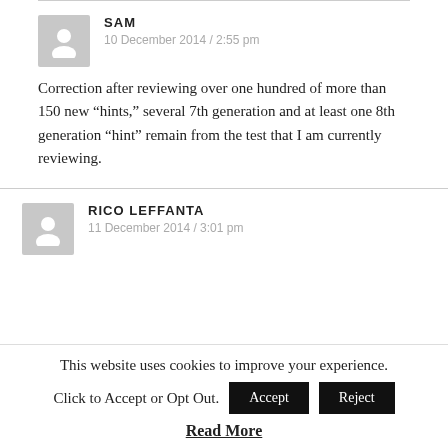SAM
10 December 2014 / 2:55 pm
Correction after reviewing over one hundred of more than 150 new “hints,” several 7th generation and at least one 8th generation “hint” remain from the test that I am currently reviewing.
RICO LEFFANTA
11 December 2014 / 3:01 pm
This website uses cookies to improve your experience. Click to Accept or Opt Out. Accept Reject
Read More